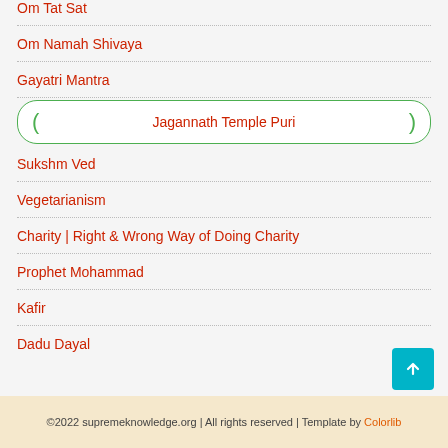Om Tat Sat
Om Namah Shivaya
Gayatri Mantra
Jagannath Temple Puri
Sukshm Ved
Vegetarianism
Charity | Right & Wrong Way of Doing Charity
Prophet Mohammad
Kafir
Dadu Dayal
©2022 supremeknowledge.org | All rights reserved | Template by Colorlib